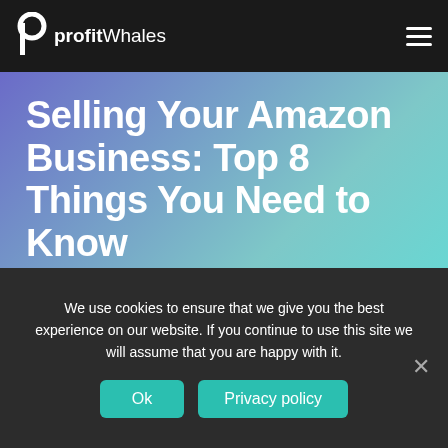ProfitWhales
Selling Your Amazon Business: Top 8 Things You Need to Know
Victoria Melnychuk on Oct 19, 2021 in Strategy
We use cookies to ensure that we give you the best experience on our website. If you continue to use this site we will assume that you are happy with it.
Ok   Privacy policy